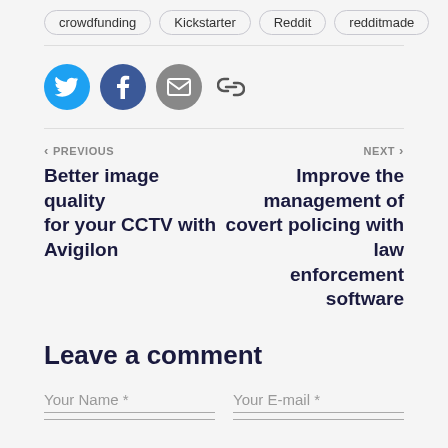crowdfunding
Kickstarter
Reddit
redditmade
[Figure (infographic): Social share icons: Twitter (blue circle), Facebook (dark blue circle), Email (grey circle), and a link/chain icon]
< PREVIOUS
Better image quality for your CCTV with Avigilon
NEXT >
Improve the management of covert policing with law enforcement software
Leave a comment
Your Name *
Your E-mail *